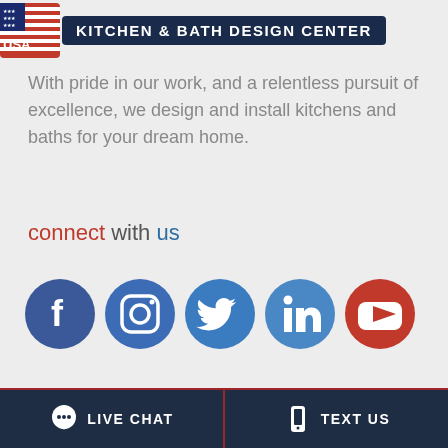[Figure (logo): USA Cabinet Store Kitchen & Bath Design Center logo with American flag icon and dark navy banner text]
With pride in our work, and a relentless pursuit of excellence, we design and install kitchens and baths for your dream home.
connect with us
[Figure (infographic): Social media icons: Facebook, Instagram, Twitter, LinkedIn, YouTube in circular colored buttons]
COMPANY
[Figure (infographic): Bottom navigation bar with LIVE CHAT and TEXT US buttons on dark navy background]